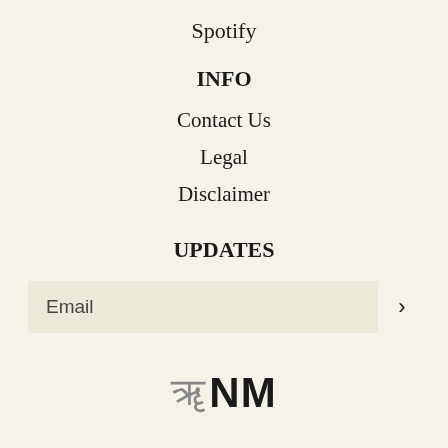Spotify
INFO
Contact Us
Legal
Disclaimer
UPDATES
Email
[Figure (logo): NM logo with stylized Hindi/Devanagari character followed by NM in bold text]